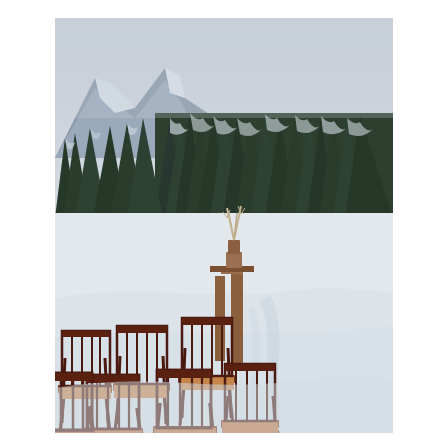[Figure (photo): Outdoor winter wedding ceremony scene. Dark mahogany spindle-back chairs with tan leather seats arranged in a semicircle on snow-covered ground. A wooden altar/stand with dried white floral branches stands at center background. Tall snow-laden evergreen pine trees fill the middle background. A mountain ridge is partially visible at upper left. The entire scene is covered in deep white snow with a cloudy overcast sky.]